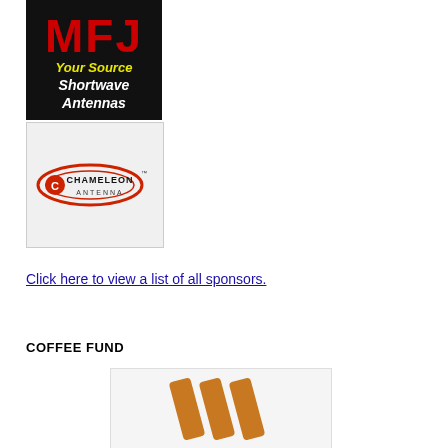[Figure (logo): MFJ logo ad — red letters MFJ on black background with yellow text 'Your Source' and white italic text 'Shortwave Antennas']
[Figure (logo): Chameleon Antenna logo on light gray background — oval red/black logo with stylized text 'CHAMELEON ANTENNA']
Click here to view a list of all sponsors.
COFFEE FUND
[Figure (logo): Partial coffee fund logo — three orange diagonal slash lines on white/light gray background inside a bordered box]